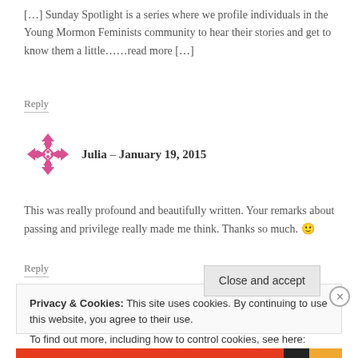[…] Sunday Spotlight is a series where we profile individuals in the Young Mormon Feminists community to hear their stories and get to know them a little……read more […]
Reply
[Figure (illustration): Pink geometric avatar icon with diamond/arrow shapes]
Julia – January 19, 2015
This was really profound and beautifully written. Your remarks about passing and privilege really made me think. Thanks so much. 🙂
Reply
Privacy & Cookies: This site uses cookies. By continuing to use this website, you agree to their use.
To find out more, including how to control cookies, see here: Cookie Policy
Close and accept